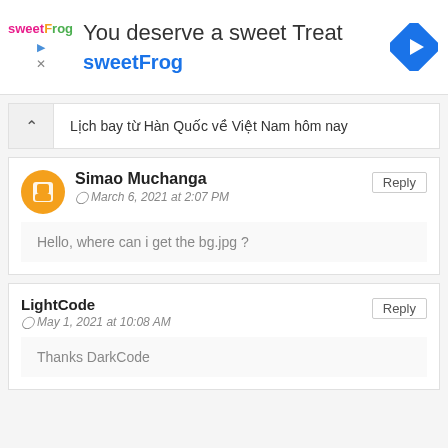[Figure (infographic): SweetFrog advertisement banner with logo, tagline 'You deserve a sweet Treat', brand name 'sweetFrog', navigation icon on right, play and close icons on left]
Lịch bay từ Hàn Quốc về Việt Nam hôm nay
Simao Muchanga
© March 6, 2021 at 2:07 PM
Hello, where can i get the bg.jpg ?
LightCode
© May 1, 2021 at 10:08 AM
Thanks DarkCode